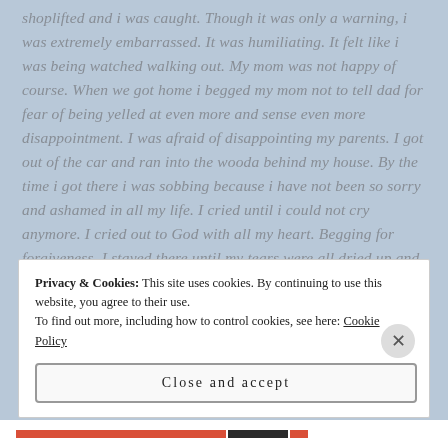shoplifted and i was caught. Though it was only a warning, i was extremely embarrassed. It was humiliating. It felt like i was being watched walking out. My mom was not happy of course. When we got home i begged my mom not to tell dad for fear of being yelled at even more and sense even more disappointment. I was afraid of disappointing my parents. I got out of the car and ran into the wooda behind my house. By the time i got there i was sobbing because i have not been so sorry and ashamed in all my life. I cried until i could not cry anymore. I cried out to God with all my heart. Begging for forgiveness. I stayed there until my tears were all dried up and my heart hurt ao much.
Privacy & Cookies: This site uses cookies. By continuing to use this website, you agree to their use. To find out more, including how to control cookies, see here: Cookie Policy
Close and accept